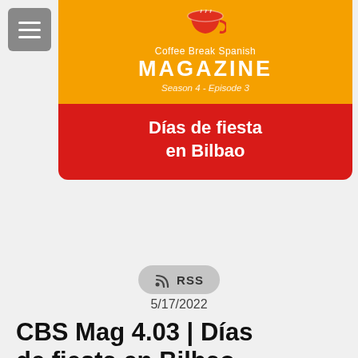[Figure (illustration): Coffee Break Spanish Magazine banner with yellow/orange background, coffee cup icon, title 'Coffee Break Spanish MAGAZINE', subtitle 'Season 4 - Episode 3', and red section with text 'Días de fiesta en Bilbao']
[Figure (other): RSS button/icon]
5/17/2022
CBS Mag 4.03 | Días de fiesta en Bilbao